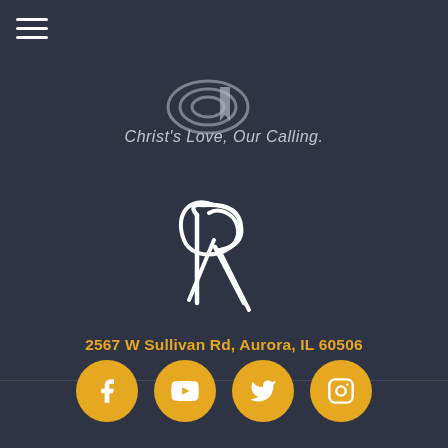[Figure (logo): Hamburger menu icon (three white horizontal lines) on dark background, with gold/yellow bar beside it]
[Figure (logo): Church logo top area with graphic symbol and text 'Christ's Love, Our Calling.' on dark background]
[Figure (logo): Stylized white script letter R logo on dark background]
2567 W Sullivan Rd, Aurora, IL 60506
[Figure (infographic): Row of four golden circular social media icons: Facebook, YouTube, Twitter, Instagram]